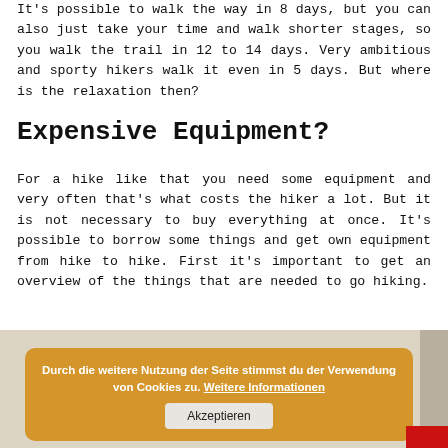It's possible to walk the way in 8 days, but you can also just take your time and walk shorter stages, so you walk the trail in 12 to 14 days. Very ambitious and sporty hikers walk it even in 5 days. But where is the relaxation then?
Expensive Equipment?
For a hike like that you need some equipment and very often that's what costs the hiker a lot. But it is not necessary to buy everything at once. It's possible to borrow some things and get own equipment from hike to hike. First it's important to get an overview of the things that are needed to go hiking.
[Figure (photo): Partial photo of hiking scene visible in background behind cookie banner]
Durch die weitere Nutzung der Seite stimmst du der Verwendung von Cookies zu. Weitere Informationen   Akzeptieren